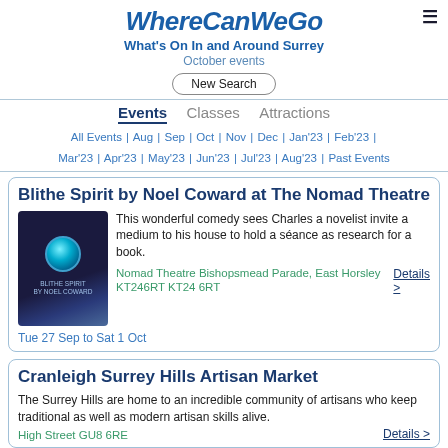WhereCanWeGo
What's On In and Around Surrey
October events
New Search
Events  Classes  Attractions
All Events | Aug | Sep | Oct | Nov | Dec | Jan'23 | Feb'23 | Mar'23 | Apr'23 | May'23 | Jun'23 | Jul'23 | Aug'23 | Past Events
Blithe Spirit by Noel Coward at The Nomad Theatre
This wonderful comedy sees Charles a novelist invite a medium to his house to hold a séance as research for a book.
Nomad Theatre Bishopsmead Parade, East Horsley KT246RT KT24 6RT
Details >
Tue 27 Sep to Sat 1 Oct
Cranleigh Surrey Hills Artisan Market
The Surrey Hills are home to an incredible community of artisans who keep traditional as well as modern artisan skills alive.
Details >